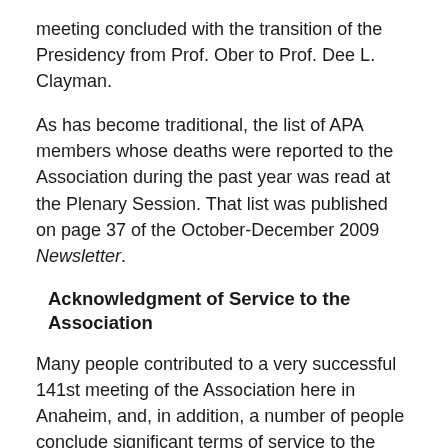meeting concluded with the transition of the Presidency from Prof. Ober to Prof. Dee L. Clayman.
As has become traditional, the list of APA members whose deaths were reported to the Association during the past year was read at the Plenary Session. That list was published on page 37 of the October-December 2009 Newsletter.
Acknowledgment of Service to the Association
Many people contributed to a very successful 141st meeting of the Association here in Anaheim, and, in addition, a number of people conclude significant terms of service to the Association at this meeting. We need to thank each one.
Maria Pantelia (UC-Irvine) served as Local Arrangements Chair and recruited the volunteers that we need to run the meeting.  She also found for